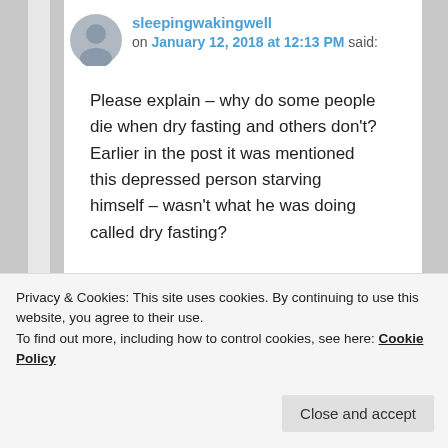sleepingwakingwell on January 12, 2018 at 12:13 PM said:
Please explain – why do some people die when dry fasting and others don't? Earlier in the post it was mentioned this depressed person starving himself – wasn't what he was doing called dry fasting?
★ Like
Privacy & Cookies: This site uses cookies. By continuing to use this website, you agree to their use.
To find out more, including how to control cookies, see here: Cookie Policy
Close and accept
said: